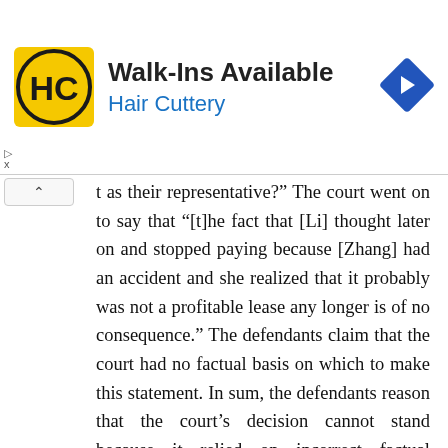[Figure (infographic): Hair Cuttery advertisement banner with logo (HC in yellow square), text 'Walk-Ins Available' and 'Hair Cuttery', and a blue navigation arrow icon.]
t as their representative?” The court went on to say that “[t]he fact that [Li] thought later on and stopped paying because [Zhang] had an accident and she realized that it probably was not a profitable lease any longer is of no consequence.” The defendants claim that the court had no factual basis on which to make this statement. In sum, the defendants reason that the court’s decision cannot stand because it relied on incorrect factual findings.
Initially, we set out the applicable standard of review. “[W]here the factual basis of the court’s decision is challenged we must determine whether the facts set out in the memorandum of decision